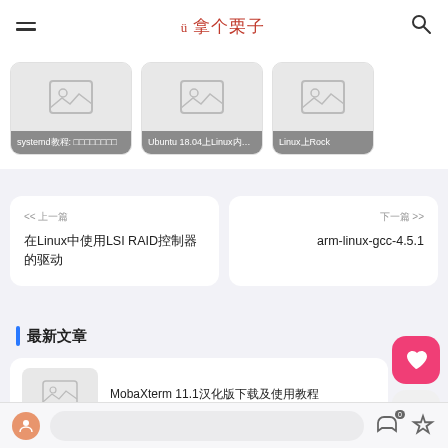≡  拿个栗子  🔍
[Figure (screenshot): Card with placeholder image: systemd教程: 学习如何管理服务]
[Figure (screenshot): Card with placeholder image: Ubuntu 18.04上Linux内核...]
[Figure (screenshot): Card with placeholder image: Linux上的Rock...]
<< 上一篇
在Linux中使用LSI RAID控制器的驱动
下一篇 >>
arm-linux-gcc-4.5.1
最新文章
MobaXterm 11.1汉化版下载及使用教程
👤  [input bar]  👍 0  ☆